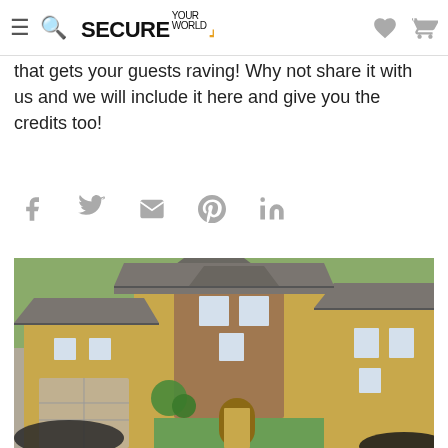SECURE YOUR WORLD
that gets your guests raving! Why not share it with us and we will include it here and give you the credits too!
[Figure (other): Social sharing icons: Facebook, Twitter, Email, Pinterest, LinkedIn]
[Figure (photo): Aerial view of suburban houses with grey roofs, yellow/tan stucco exterior walls, green lawns, and parked cars in driveways]